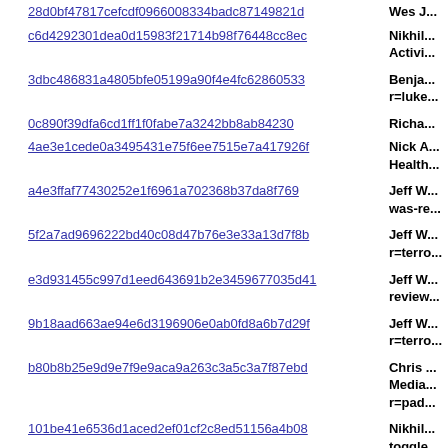| Hash | Name/Description |
| --- | --- |
| 28d0bf47817cefcdf0966008334badc87149821d | Wes J... |
| c6d4292301dea0d15983f21714b98f76448cc8ec | Nikhil ... Activi... |
| 3dbc486831a4805bfe05199a90f4e4fc62860533 | Benja... r=luke... |
| 0c890f39dfa6cd1ff1f0fabe7a3242bb8ab84230 | Richa... |
| 4ae3e1cede0a3495431e75f6ee7515e7a417926f | Nick A... Health... |
| a4e3ffaf77430252e1f6961a702368b37da8f769 | Jeff W... was-re... |
| 5f2a7ad9696222bd40c08d47b76e3e33a13d7f8b | Jeff W... r=terro... |
| e3d931455c997d1eed643691b2e3459677035d41 | Jeff W... review... |
| 9b18aad663ae94e6d3196906e0ab0fd8a6b7d29f | Jeff W... r=terro... |
| b80b8b25e9d9e7f9e9aca9a263c3a5c3a7f87ebd | Chris ... Media... r=pad... |
| 101be41e6536d1aced2ef01cf2c8ed51156a4b08 | Nikhil... toggle... |
| 81d4a3cf9e140a0d5792557ca15eae6513dfb2fd | Bobby... |
| 5f37e9cb1334532e8b86b63813cd1e40f8f9eede | Bobby... |
| 30e704196d0afd524869bdbb49d59c968022afea | Bobby... r=gab... |
| c521067ed5423fbe49781ee563a5d9a5b6d2c39f | Bobby... AutoS... |
| 58bd67e4294a77090f941d41167642579a0d0c46 | Bobby... |